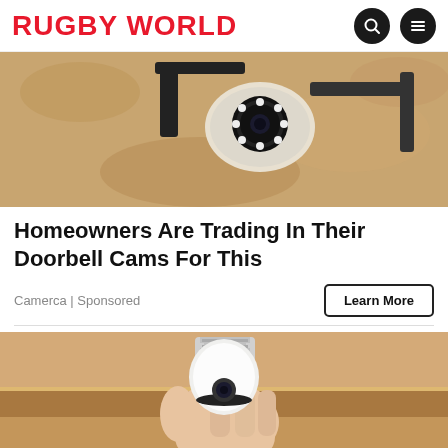RUGBY WORLD
[Figure (photo): Security camera mounted on a wall, close-up showing the camera lens with LED lights]
Homeowners Are Trading In Their Doorbell Cams For This
Camerca | Sponsored
Learn More
[Figure (photo): Hand holding a white smart light bulb camera device with a screw base]
[Figure (photo): NFL Shop advertisement banner with Dallas Cowboys jersey and NFL Shop logo]
NFL Shop
Free shipping on orders over $25
www.nflshop.com